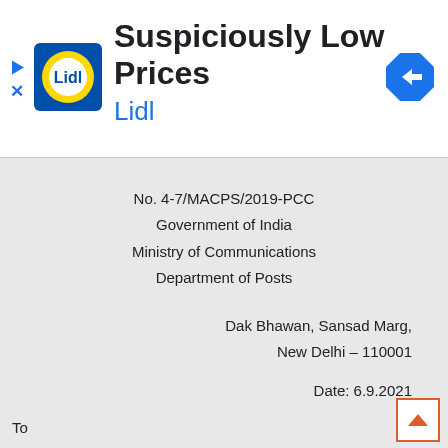[Figure (screenshot): Lidl advertisement banner with yellow/blue Lidl logo, title 'Suspiciously Low Prices', subtitle 'Lidl', blue navigation arrow icon on right, play and X icons on left]
No. 4-7/MACPS/2019-PCC
Government of India
Ministry of Communications
Department of Posts
Dak Bhawan, Sansad Marg,
New Delhi – 110001
Date: 6.9.2021
To
1. All Chief Postmasters General/Postmasters General...